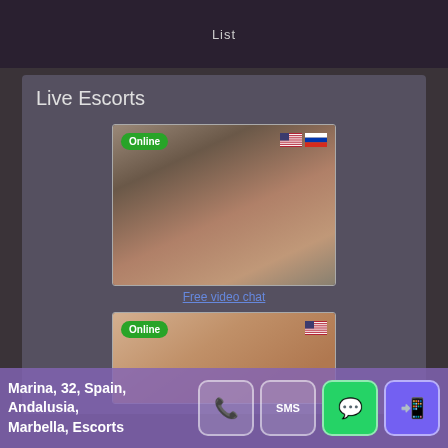List
Live Escorts
[Figure (photo): Escort listing photo 1 with Online badge and US/Russia flags]
Free video chat
[Figure (photo): Escort listing photo 2 with Online badge and US flag]
Marina, 32, Spain, Andalusia, Marbella, Escorts